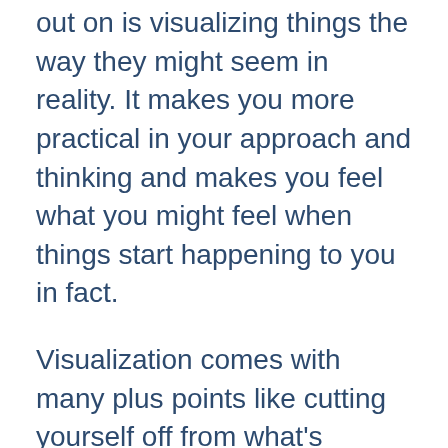out on is visualizing things the way they might seem in reality. It makes you more practical in your approach and thinking and makes you feel what you might feel when things start happening to you in fact.
Visualization comes with many plus points like cutting yourself off from what's stressing you out, making you calmer and more composed and switching the stress response of your body.
Visualize how things will be when you